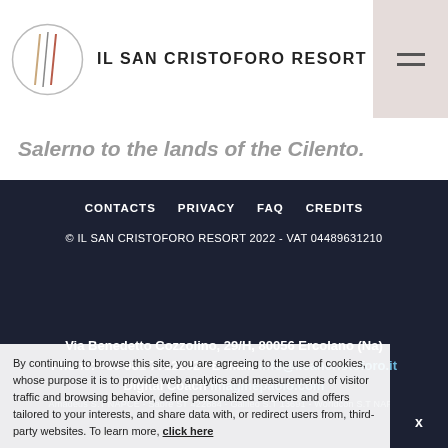IL SAN CRISTOFORO RESORT
Salerno to the lands of the Cilento.
CONTACTS   PRIVACY   FAQ   CREDITS
© IL SAN CRISTOFORO RESORT 2022 - VAT 04489631210
Via Benedetto Cozzolino, 29/H, 80056 Ercolano (Na)
Phone: +39 081 7712292 - E-mail: info@ilsancristoforo.it
Digital Coach imaginepaolo.com
By continuing to browse this site, you are agreeing to the use of cookies, whose purpose it is to provide web analytics and measurements of visitor traffic and browsing behavior, define personalized services and offers tailored to your interests, and share data with, or redirect users from, third-party websites. To learn more, click here